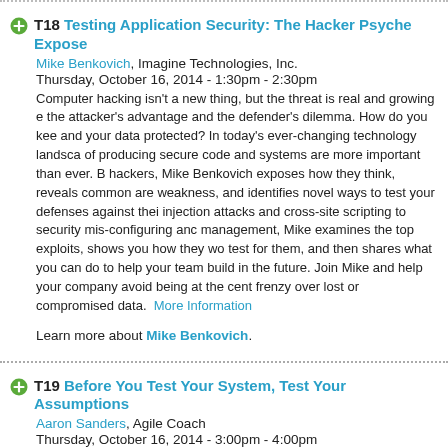T18 Testing Application Security: The Hacker Psyche Expose
Mike Benkovich, Imagine Technologies, Inc.
Thursday, October 16, 2014 - 1:30pm - 2:30pm
Computer hacking isn't a new thing, but the threat is real and growing e the attacker's advantage and the defender's dilemma. How do you kee and your data protected? In today's ever-changing technology landsca of producing secure code and systems are more important than ever. B hackers, Mike Benkovich exposes how they think, reveals common are weakness, and identifies novel ways to test your defenses against thei injection attacks and cross-site scripting to security mis-configuring anc management, Mike examines the top exploits, shows you how they wo test for them, and then shares what you can do to help your team build in the future. Join Mike and help your company avoid being at the cent frenzy over lost or compromised data. More Information

Learn more about Mike Benkovich.
T19 Before You Test Your System, Test Your Assumptions
Aaron Sanders, Agile Coach
Thursday, October 16, 2014 - 3:00pm - 4:00pm
Do you find yourself discussing with your peers what you think the syst should do? Do you argue over what the users want? Do discussions w debate? This result indicates that no shared understanding exists abou